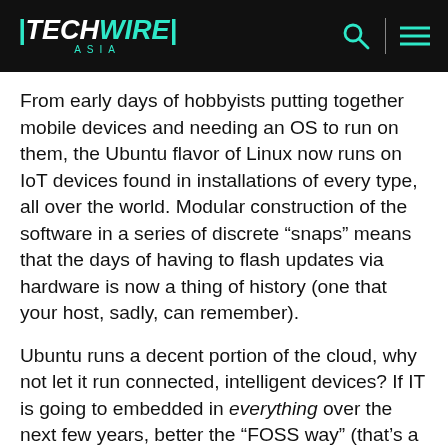TECHWIRE ASIA
From early days of hobbyists putting together mobile devices and needing an OS to run on them, the Ubuntu flavor of Linux now runs on IoT devices found in installations of every type, all over the world. Modular construction of the software in a series of discrete “snaps” means that the days of having to flash updates via hardware is now a thing of history (one that your host, sadly, can remember).
Ubuntu runs a decent portion of the cloud, why not let it run connected, intelligent devices? If IT is going to embedded in everything over the next few years, better the “FOSS way” (that’s a Roman road joke, btw) than closed systems, for both security’s and